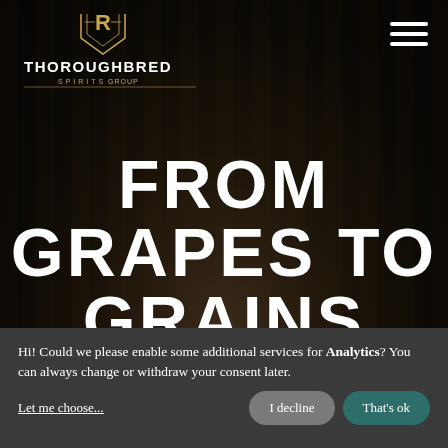[Figure (logo): Thoroughbred Spirits Group logo with gold emblem and white text]
[Figure (other): Hamburger menu icon (three horizontal white lines) in top right corner]
FROM GRAPES TO GRAINS
Hi! Could we please enable some additional services for Analytics? You can always change or withdraw your consent later.
Let me choose...
I decline
That's ok